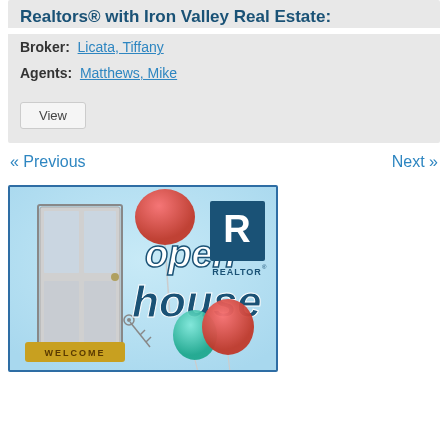Realtors® with Iron Valley Real Estate:
Broker:  Licata, Tiffany
Agents:  Matthews, Mike
View
« Previous    Next »
[Figure (illustration): Open house promotional image with balloons, a door, and REALTOR logo. Text reads 'open house' in large letters and 'WELCOME' on a mat.]